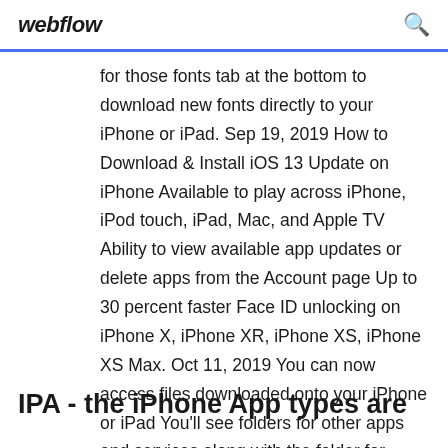webflow
for those fonts tab at the bottom to download new fonts directly to your iPhone or iPad. Sep 19, 2019 How to Download & Install iOS 13 Update on iPhone Available to play across iPhone, iPod touch, iPad, Mac, and Apple TV Ability to view available app updates or delete apps from the Account page Up to 30 percent faster Face ID unlocking on iPhone X, iPhone XR, iPhone XS, iPhone XS Max. Oct 11, 2019 You can now access files downloaded onto your iPhone or iPad You'll see folders for other apps and services along with the folder for
IPA - the iPhone App types are